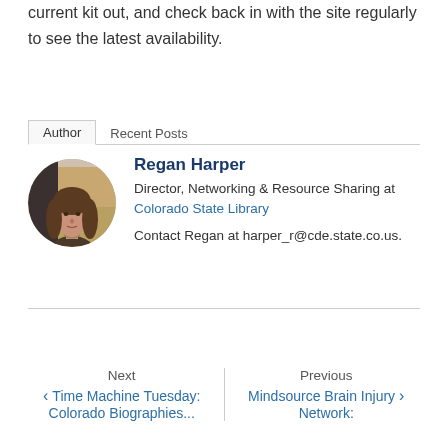current kit out, and check back in with the site regularly to see the latest availability.
Author  Recent Posts
[Figure (photo): Circular portrait photo of Regan Harper, a woman with long brown hair]
Regan Harper
Director, Networking & Resource Sharing at Colorado State Library
Contact Regan at harper_r@cde.state.co.us.
Next
< Time Machine Tuesday:
Colorado Biographies...
Previous
Mindsource Brain Injury >
Network: